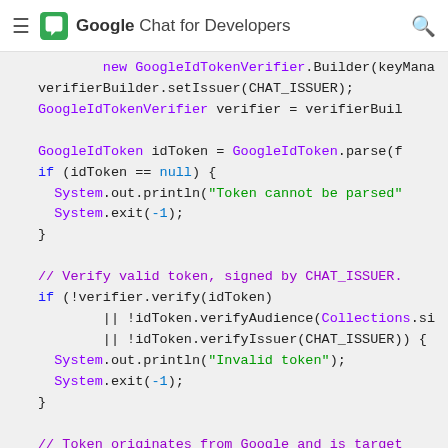Google Chat for Developers
[Figure (screenshot): Syntax-highlighted Java code snippet showing GoogleIdTokenVerifier usage: building verifier, parsing token, checking null, verifying token against CHAT_ISSUER, and printing validation messages.]